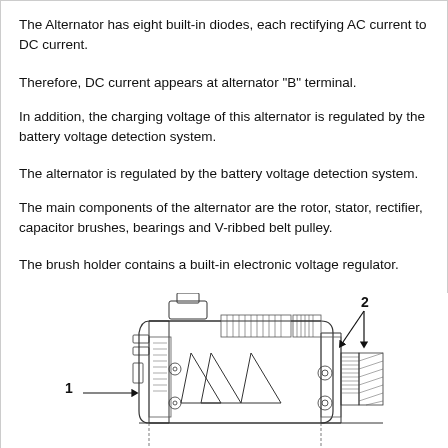The Alternator has eight built-in diodes, each rectifying AC current to DC current.
Therefore, DC current appears at alternator "B" terminal.
In addition, the charging voltage of this alternator is regulated by the battery voltage detection system.
The alternator is regulated by the battery voltage detection system.
The main components of the alternator are the rotor, stator, rectifier, capacitor brushes, bearings and V-ribbed belt pulley.
The brush holder contains a built-in electronic voltage regulator.
[Figure (engineering-diagram): Cross-sectional engineering diagram of an alternator showing internal components. Label 1 points to the left/brush holder area, label 2 points to the upper right component (brush holder with electronic voltage regulator). The diagram shows the rotor, stator windings, rectifier, bearings, and pulley in cutaway view.]